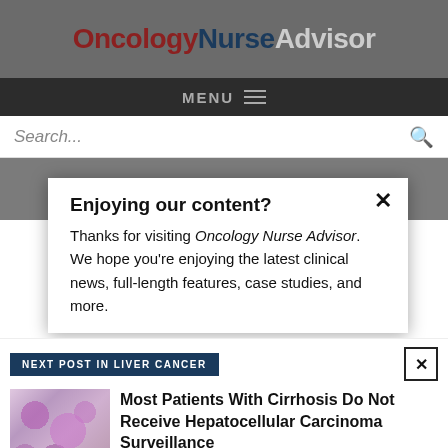OncologyNurseAdvisor
MENU
Search...
Enjoying our content?
Thanks for visiting Oncology Nurse Advisor. We hope you're enjoying the latest clinical news, full-length features, case studies, and more.
NEXT POST IN LIVER CANCER
[Figure (photo): Microscopic tissue image showing cellular structures, likely liver tissue biopsy with pink and purple staining]
Most Patients With Cirrhosis Do Not Receive Hepatocellular Carcinoma Surveillance
LOGIN
REGISTER